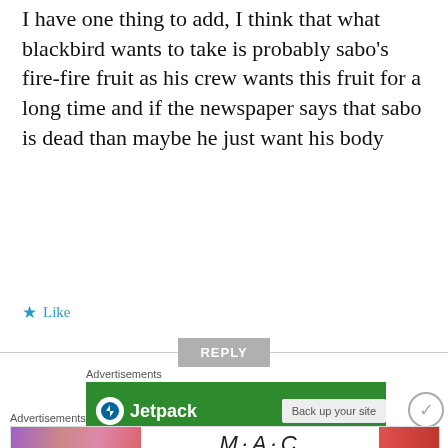I have one thing to add, I think that what blackbird wants to take is probably sabo's fire-fire fruit as his crew wants this fruit for a long time and if the newspaper says that sabo is dead than maybe he just want his body
★ Like
REPLY
Advertisements
[Figure (screenshot): Jetpack advertisement banner (green background) with Jetpack logo and partial button text]
Advertisements
[Figure (screenshot): MAC Cosmetics advertisement with lipstick products and SHOP NOW button]